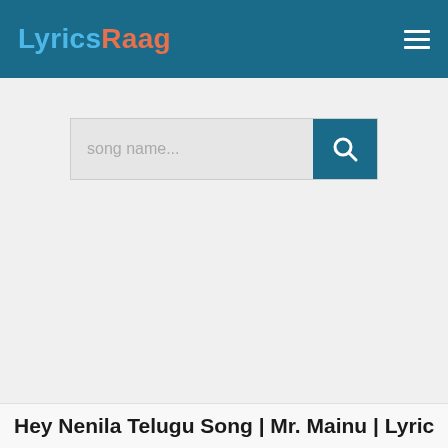LyricsRaag
[Figure (screenshot): Search bar with placeholder text 'song name...' and a teal search button with magnifying glass icon]
Hey Nenila Telugu Song | Mr. Mainu | Lyrics